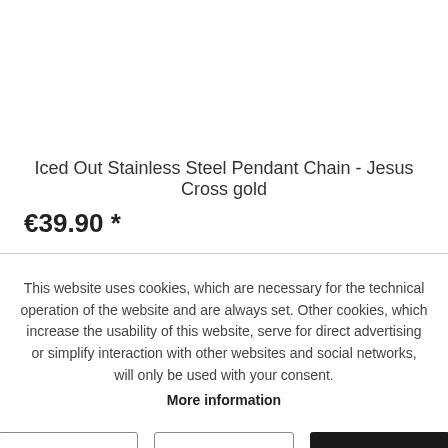Iced Out Stainless Steel Pendant Chain - Jesus Cross gold
€39.90 *
This website uses cookies, which are necessary for the technical operation of the website and are always set. Other cookies, which increase the usability of this website, serve for direct advertising or simplify interaction with other websites and social networks, will only be used with your consent.
More information
Decline | Accept all | Configure